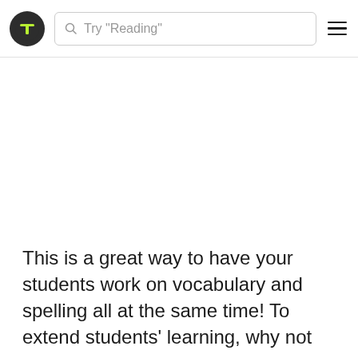Try "Reading"
This is a great way to have your students work on vocabulary and spelling all at the same time! To extend students' learning, why not